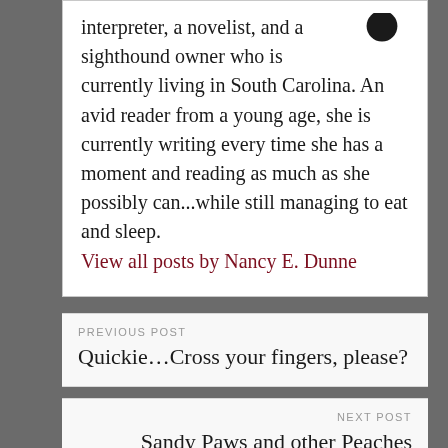interpreter, a novelist, and a sighthound owner who is currently living in South Carolina. An avid reader from a young age, she is currently writing every time she has a moment and reading as much as she possibly can...while still managing to eat and sleep.
View all posts by Nancy E. Dunne
PREVIOUS POST
Quickie...Cross your fingers, please?
NEXT POST
Sandy Paws and other Peaches